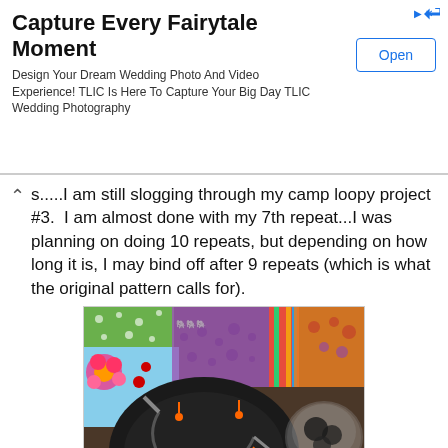[Figure (screenshot): Advertisement banner: 'Capture Every Fairytale Moment' with Open button and ad arrow icon]
s.....I am still slogging through my camp loopy project #3. I am almost done with my 7th repeat...I was planning on doing 10 repeats, but depending on how long it is, I may bind off after 9 repeats (which is what the original pattern calls for).
[Figure (photo): Photo of knitting/crochet project in black fabric on a table with colorful fabric pieces, knitting needles, and a glass bowl in the background]